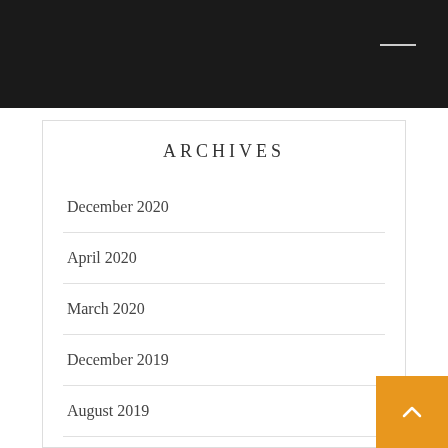ARCHIVES
December 2020
April 2020
March 2020
December 2019
August 2019
April 2019
January 2019
December 2018